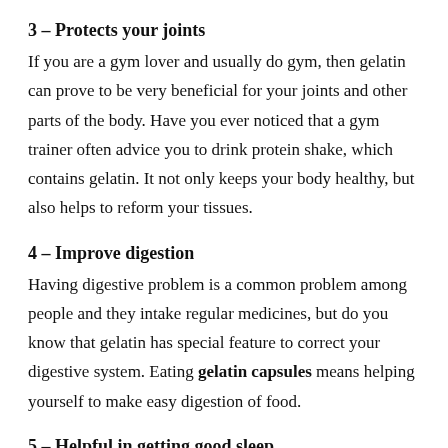3 – Protects your joints
If you are a gym lover and usually do gym, then gelatin can prove to be very beneficial for your joints and other parts of the body. Have you ever noticed that a gym trainer often advice you to drink protein shake, which contains gelatin. It not only keeps your body healthy, but also helps to reform your tissues.
4 – Improve digestion
Having digestive problem is a common problem among people and they intake regular medicines, but do you know that gelatin has special feature to correct your digestive system. Eating gelatin capsules means helping yourself to make easy digestion of food.
5 – Helpful in getting good sleep